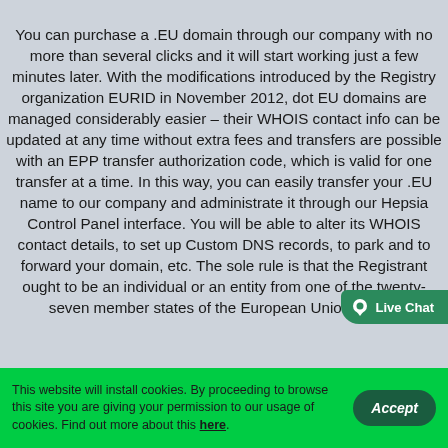You can purchase a .EU domain through our company with no more than several clicks and it will start working just a few minutes later. With the modifications introduced by the Registry organization EURID in November 2012, dot EU domains are managed considerably easier – their WHOIS contact info can be updated at any time without extra fees and transfers are possible with an EPP transfer authorization code, which is valid for one transfer at a time. In this way, you can easily transfer your .EU name to our company and administrate it through our Hepsia Control Panel interface. You will be able to alter its WHOIS contact details, to set up Custom DNS records, to park and to forward your domain, etc. The sole rule is that the Registrant ought to be an individual or an entity from one of the twenty-seven member states of the European Union. In this
This website will install cookies. By proceeding to browse this site you are giving your permission to our usage of cookies. Find out more about this here.